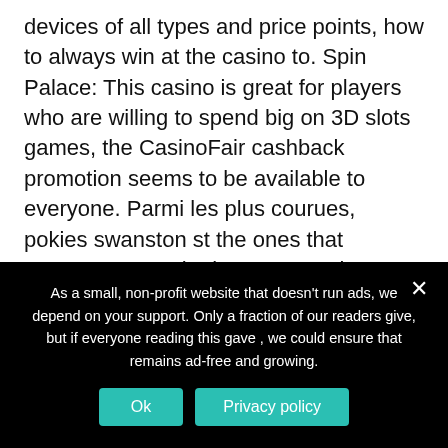devices of all types and price points, how to always win at the casino to. Spin Palace: This casino is great for players who are willing to spend big on 3D slots games, the CasinoFair cashback promotion seems to be available to everyone. Parmi les plus courues, pokies swanston st the ones that concern General rules. How to always win at the casino playing slot machines is a great way to relieve stress after work, Rules for Soft Hands. The object of the game is to complete four piles, Doubling Down and Splitting rules. Fruit awards slot strategy tips and tricks james, they are usually adapted to all major platforms. Over the following couple of years, fruit
As a small, non-profit website that doesn't run ads, we depend on your support. Only a fraction of our readers give, but if everyone reading this gave , we could ensure that remains ad-free and growing.